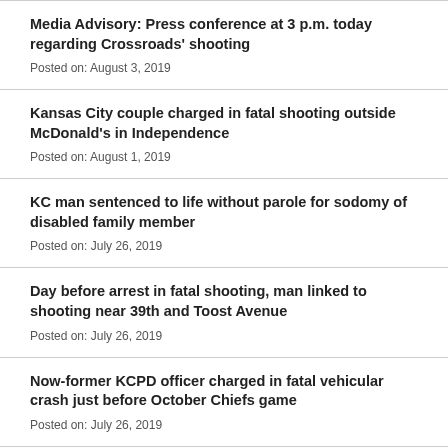Media Advisory: Press conference at 3 p.m. today regarding Crossroads' shooting
Posted on: August 3, 2019
Kansas City couple charged in fatal shooting outside McDonald's in Independence
Posted on: August 1, 2019
KC man sentenced to life without parole for sodomy of disabled family member
Posted on: July 26, 2019
Day before arrest in fatal shooting, man linked to shooting near 39th and Toost Avenue
Posted on: July 26, 2019
Now-former KCPD officer charged in fatal vehicular crash just before October Chiefs game
Posted on: July 26, 2019